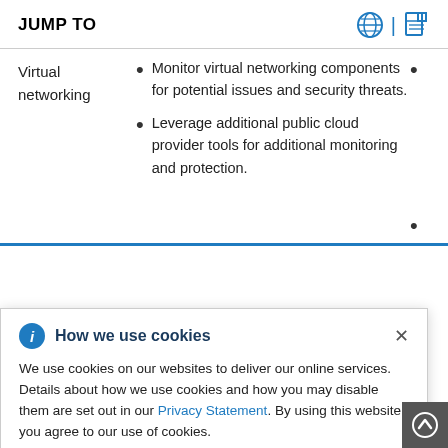JUMP TO
Monitor virtual networking components for potential issues and security threats.
Leverage additional public cloud provider tools for additional monitoring and protection.
How we use cookies — We use cookies on our websites to deliver our online services. Details about how we use cookies and how you may disable them are set out in our Privacy Statement. By using this website you agree to our use of cookies.
Disaster recovery includes data and configuration backup, replicating data and configuration to the